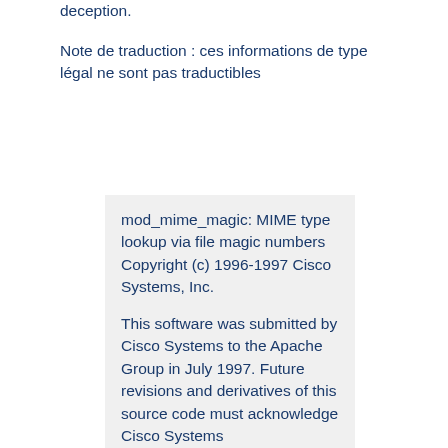deception.
Note de traduction : ces informations de type légal ne sont pas traductibles
mod_mime_magic: MIME type lookup via file magic numbers Copyright (c) 1996-1997 Cisco Systems, Inc.

This software was submitted by Cisco Systems to the Apache Group in July 1997. Future revisions and derivatives of this source code must acknowledge Cisco Systems